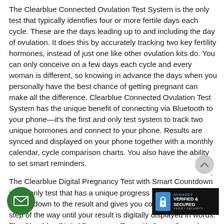The Clearblue Connected Ovulation Test System is the only test that typically identifies four or more fertile days each cycle. These are the days leading up to and including the day of ovulation. It does this by accurately tracking two key fertility hormones, instead of just one like other ovulation kits do. You can only conceive on a few days each cycle and every woman is different, so knowing in advance the days when you personally have the best chance of getting pregnant can make all the difference. Clearblue Connected Ovulation Test System has the unique benefit of connecting via Bluetooth to your phone—it's the first and only test system to track two unique hormones and connect to your phone. Results are synced and displayed on your phone together with a monthly calendar, cycle comparison charts. You also have the ability to set smart reminders.
The Clearblue Digital Pregnancy Test with Smart Countdown is the only test that has a unique progress indicator that counts down to the result and gives you confidence every step of the way until your result is digitally displayed in words. The Clearblue Digital Pregnancy Test with Smart Countdown with tip makes it easy to take the test accurately. The Floodguard Technology helps redu...